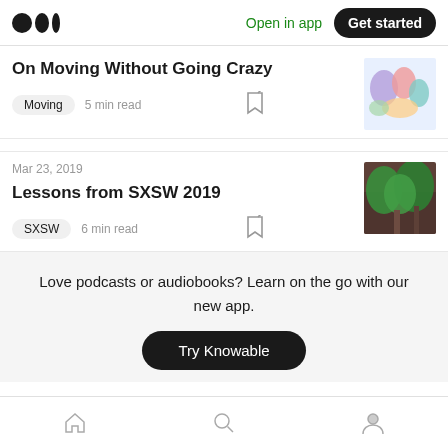Medium logo | Open in app | Get started
On Moving Without Going Crazy
Moving   5 min read
Mar 23, 2019
Lessons from SXSW 2019
SXSW   6 min read
Love podcasts or audiobooks? Learn on the go with our new app.
Try Knowable
Home | Search | Profile